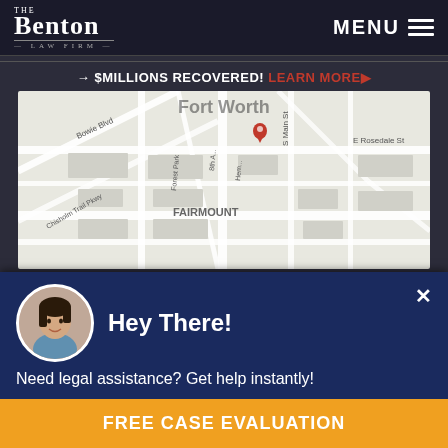The Benton Law Firm — MENU
→ $MILLIONS RECOVERED! LEARN MORE ▶
[Figure (map): Google map showing Fort Worth area with FAIRMOUNT neighborhood, streets including Bowie Blvd, Forest Park, E Rosedale St, with a red map pin marker]
307 W 7TH ST #828
FORT WORTH, TX 76102
PHONE: (817) 835-0000
Hey There!
Need legal assistance? Get help instantly!
FREE CASE EVALUATION